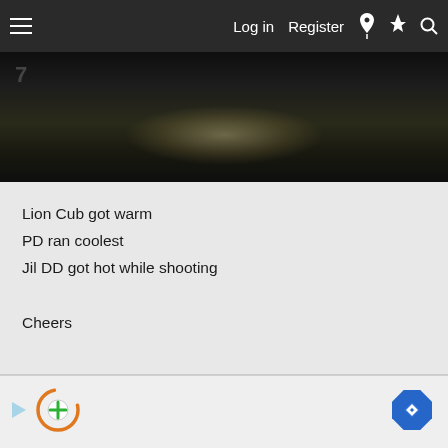Log in   Register
[Figure (photo): Dark image with a warm glowing light source in the center, and a number partially visible on the left side]
Lion Cub got warm
PD ran coolest
Jil DD got hot while shooting

Cheers
[Figure (screenshot): Advertisement bar at the bottom with colorful icons including a play button, a circular plus icon in orange/green, and a blue diamond navigation arrow]